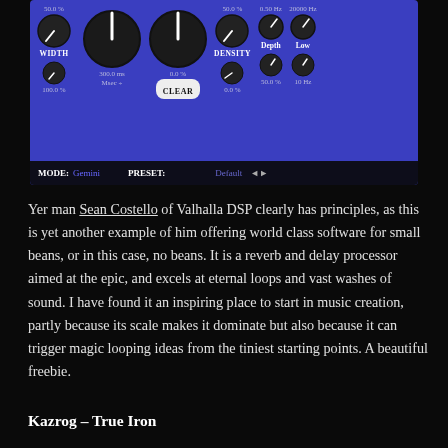[Figure (screenshot): Screenshot of Valhalla DSP plugin UI showing knobs and controls for WIDTH, DENSITY, Depth, Low parameters with values like 50.0%, 300.0 ms, 0.0%, 0.50 Hz, 20000 Hz, 100.0%, 10 Hz. Bottom bar shows MODE: Gemini, PRESET: Default with navigation arrows.]
Yer man Sean Costello of Valhalla DSP clearly has principles, as this is yet another example of him offering world class software for small beans, or in this case, no beans. It is a reverb and delay processor aimed at the epic, and excels at eternal loops and vast washes of sound. I have found it an inspiring place to start in music creation, partly because its scale makes it dominate but also because it can trigger magic looping ideas from the tiniest starting points. A beautiful freebie.
Kazrog – True Iron